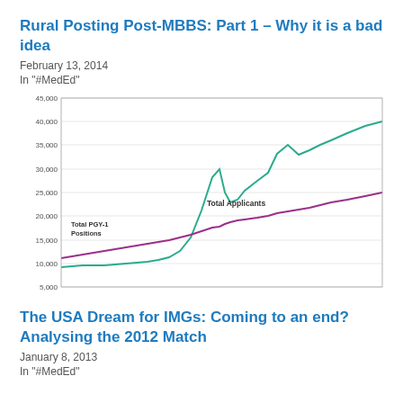Rural Posting Post-MBBS: Part 1 – Why it is a bad idea
February 13, 2014
In "#MedEd"
[Figure (line-chart): Line chart showing Total Applicants (teal/green line) and Total PGY-1 Positions (purple/magenta line) over time. Total Applicants rises from ~6,500 to ~38,000 with a peak around 29,000 then dip then rise. Total PGY-1 Positions rises gradually from ~11,000 to ~24,000.]
The USA Dream for IMGs: Coming to an end? Analysing the 2012 Match
January 8, 2013
In "#MedEd"